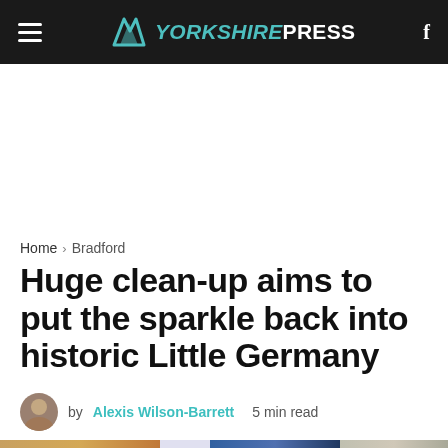YORKSHIRE PRESS
Home > Bradford
Huge clean-up aims to put the sparkle back into historic Little Germany
by Alexis Wilson-Barrett  5 min read
[Figure (photo): Partial image strip at bottom of article preview showing fragments of article photos]